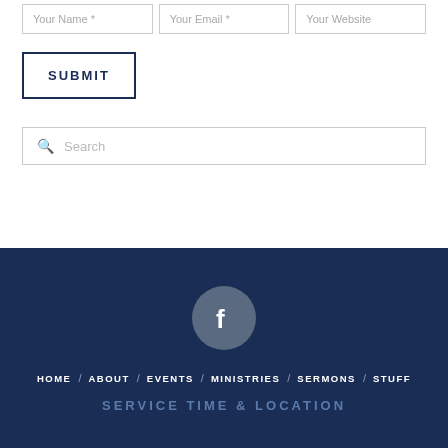[Figure (screenshot): Three input fields in a row: Your Name *, Your Email *, Your Website]
SUBMIT
Search
[Figure (logo): Facebook icon in a dark grey circle]
HOME / ABOUT / EVENTS / MINISTRIES / SERMONS / STUFF
SERVICE TIME & LOCATION